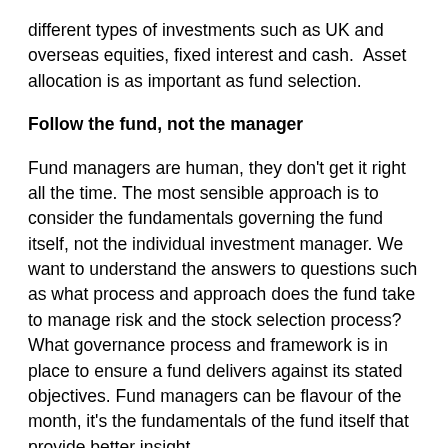different types of investments such as UK and overseas equities, fixed interest and cash. Asset allocation is as important as fund selection.
Follow the fund, not the manager
Fund managers are human, they don't get it right all the time. The most sensible approach is to consider the fundamentals governing the fund itself, not the individual investment manager. We want to understand the answers to questions such as what process and approach does the fund take to manage risk and the stock selection process? What governance process and framework is in place to ensure a fund delivers against its stated objectives. Fund managers can be flavour of the month, it's the fundamentals of the fund itself that provide better insight.